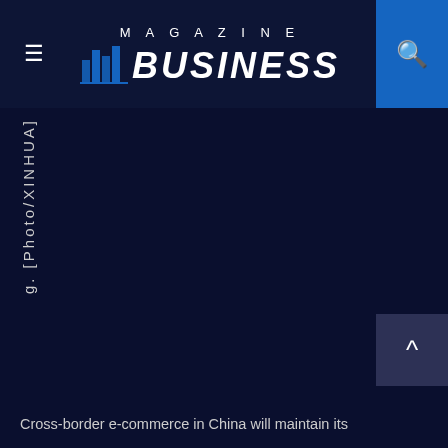MAGAZINE BUSINESS
g. [Photo/XINHUA]
Cross-border e-commerce in China will maintain its